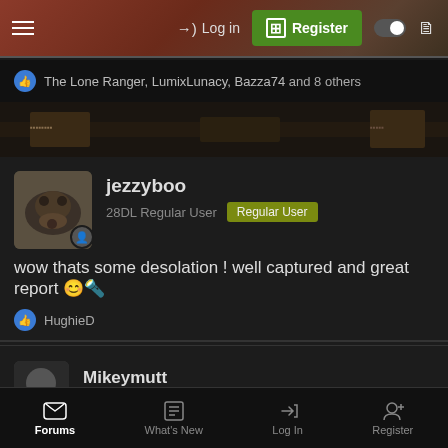Log in | Register
The Lone Ranger, LumixLunacy, Bazza74 and 8 others
jezzyboo
28DL Regular User  Regular User
Dec 3, 2021  #4
wow thats some desolation ! well captured and great report 😊💡
HughieD
Mikeymutt
28DL Regular User  Regular User
Forums  What's New  Log In  Register